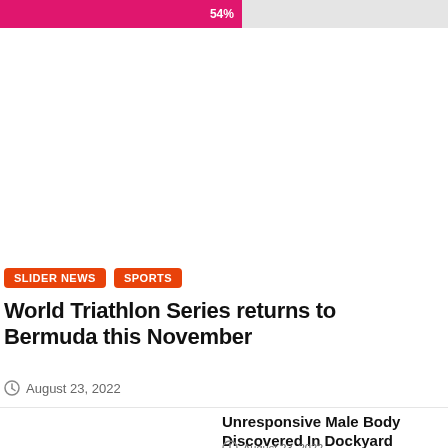[Figure (other): Progress bar showing 54% in pink/magenta color on a light gray background]
SLIDER NEWS
SPORTS
World Triathlon Series returns to Bermuda this November
August 23, 2022
Unresponsive Male Body Discovered In Dockyard
August 23, 2022